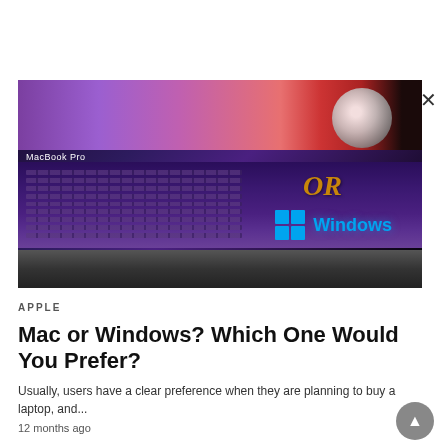[Figure (photo): MacBook Pro laptop with purple keyboard and colorful wave display background, with 'OR Windows' overlay text and Windows logo on the right side]
APPLE
Mac or Windows? Which One Would You Prefer?
Usually, users have a clear preference when they are planning to buy a laptop, and...
12 months ago